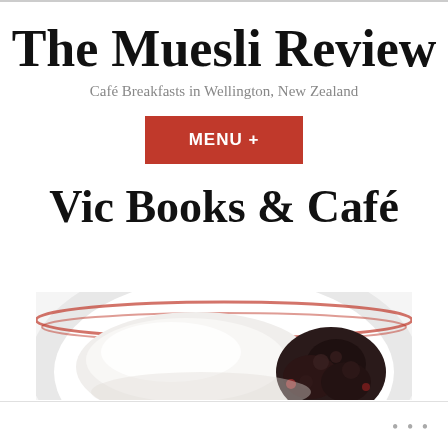The Muesli Review
Café Breakfasts in Wellington, New Zealand
MENU +
Vic Books & Café
[Figure (photo): Close-up photo of a white bowl with red rim containing muesli topped with white yogurt/cream and dark berries or fruit, on a white background.]
• • •